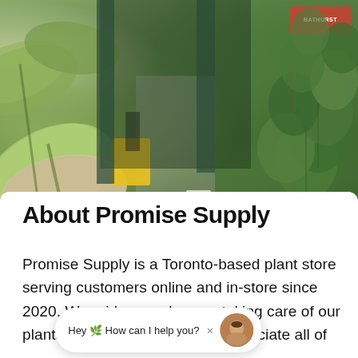[Figure (photo): Exterior of Promise Supply plant store in Toronto. Lush tropical plants including large rubber plant leaves on the left and fiddle-leaf fig tree on the right flank the store entrance. A yellow sandwich board sign sits near the entrance. A neon or illuminated sign reading 'BATHURST' is visible in the top right corner. The storefront has dark green walls with various plants visible inside.]
About Promise Supply
Promise Supply is a Toronto-based plant store serving customers online and in-store since 2020. We pride ourselves on taking care of our plants ar... Which is why we appreciate all of
Hey 🌿 How can I help you? ×